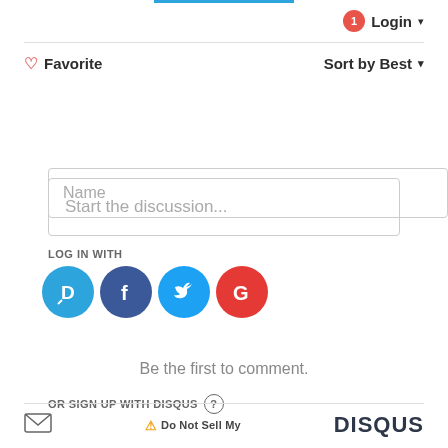[Figure (screenshot): Disqus comment login/signup widget interface showing Login button with notification badge, Favorite and Sort by Best controls, discussion input field, social login icons (Disqus, Facebook, Twitter, Google), sign up with Disqus form with Name field, 'Be the first to comment' message, and footer with mail icon, Do Not Sell My, and DISQUS logo]
Login
♡ Favorite
Sort by Best
Start the discussion...
LOG IN WITH
OR SIGN UP WITH DISQUS ?
Name
Be the first to comment.
Do Not Sell My
DISQUS